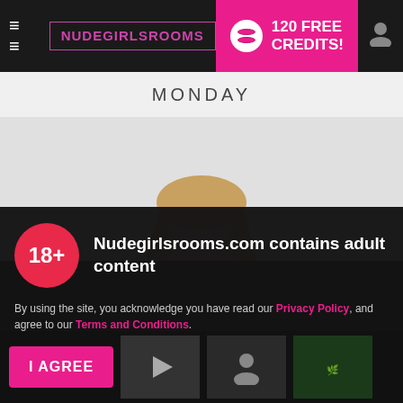NUDEGIRLSROOMS | 120 FREE CREDITS!
MONDAY
[Figure (photo): Woman with long blonde hair holding red flowers/bouquet against white background]
Nudegirlsrooms.com contains adult content
By using the site, you acknowledge you have read our Privacy Policy, and agree to our Terms and Conditions.
We use cookies to optimize your experience, analyze traffic, and deliver more personalized service. To learn more, please see our Privacy Policy.
I AGREE